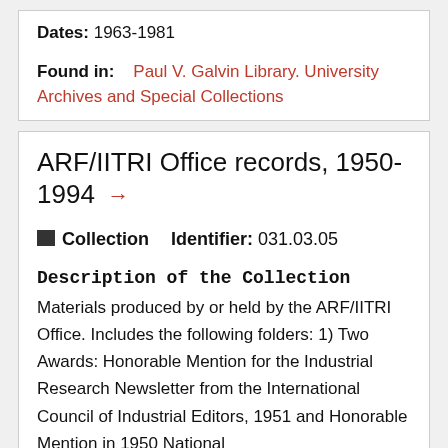Dates: 1963-1981
Found in: Paul V. Galvin Library. University Archives and Special Collections
ARF/IITRI Office records, 1950-1994 →
Collection   Identifier: 031.03.05
Description of the Collection
Materials produced by or held by the ARF/IITRI Office. Includes the following folders: 1) Two Awards: Honorable Mention for the Industrial Research Newsletter from the International Council of Industrial Editors, 1951 and Honorable Mention in 1950 National